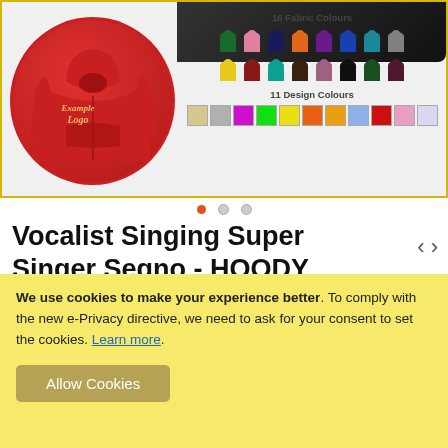[Figure (photo): Product image showing a red hoodie with 'Example Logo' embroidery displayed in a red circle, alongside swatches showing 16 Fabric Colours and 11 Design Colours on a light background with gold border]
Vocalist Singing Super Singer Segno - HOODY
Be the first to review this product
We use cookies to make your experience better. To comply with the new e-Privacy directive, we need to ask for your consent to set the cookies. Learn more.
Allow Cookies